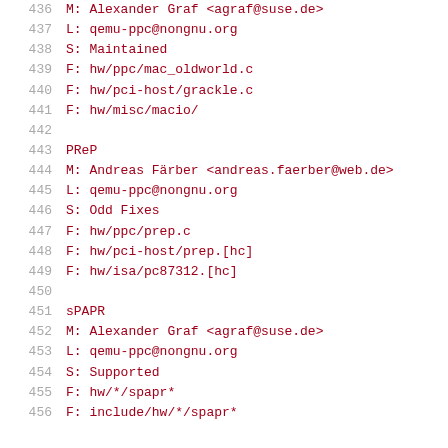436   M: Alexander Graf <agraf@suse.de>
437   L: qemu-ppc@nongnu.org
438   S: Maintained
439   F: hw/ppc/mac_oldworld.c
440   F: hw/pci-host/grackle.c
441   F: hw/misc/macio/
442
443   PReP
444   M: Andreas Färber <andreas.faerber@web.de>
445   L: qemu-ppc@nongnu.org
446   S: Odd Fixes
447   F: hw/ppc/prep.c
448   F: hw/pci-host/prep.[hc]
449   F: hw/isa/pc87312.[hc]
450
451   sPAPR
452   M: Alexander Graf <agraf@suse.de>
453   L: qemu-ppc@nongnu.org
454   S: Supported
455   F: hw/*/spapr*
456   F: include/hw/*/spapr*